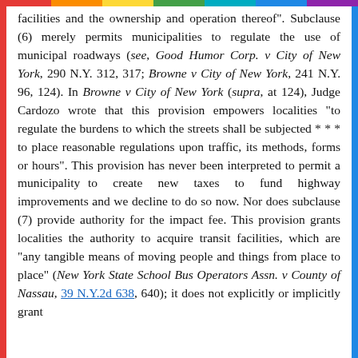facilities and the ownership and operation thereof". Subclause (6) merely permits municipalities to regulate the use of municipal roadways (see, Good Humor Corp. v City of New York, 290 N.Y. 312, 317; Browne v City of New York, 241 N.Y. 96, 124). In Browne v City of New York (supra, at 124), Judge Cardozo wrote that this provision empowers localities "to regulate the burdens to which the streets shall be subjected * * * to place reasonable regulations upon traffic, its methods, forms or hours". This provision has never been interpreted to permit a municipality to create new taxes to fund highway improvements and we decline to do so now. Nor does subclause (7) provide authority for the impact fee. This provision grants localities the authority to acquire transit facilities, which are "any tangible means of moving people and things from place to place" (New York State School Bus Operators Assn. v County of Nassau, 39 N.Y.2d 638, 640); it does not explicitly or implicitly grant